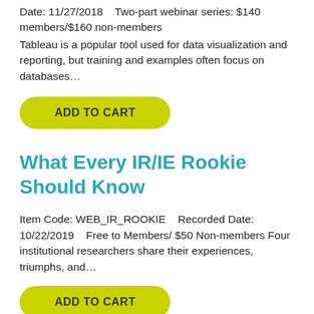Date: 11/27/2018    Two-part webinar series: $140 members/$160 non-members
Tableau is a popular tool used for data visualization and reporting, but training and examples often focus on databases...
ADD TO CART
What Every IR/IE Rookie Should Know
Item Code: WEB_IR_ROOKIE    Recorded Date: 10/22/2019    Free to Members/ $50 Non-members Four institutional researchers share their experiences, triumphs, and...
ADD TO CART